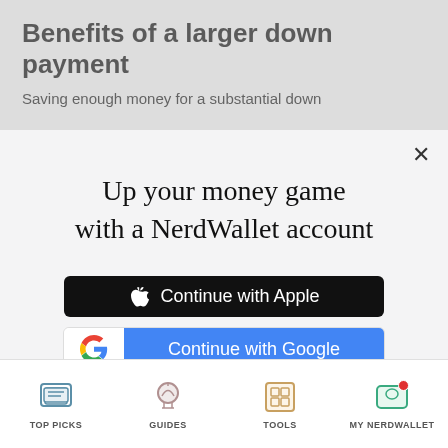Benefits of a larger down payment
Saving enough money for a substantial down
[Figure (screenshot): Modal dialog overlay on NerdWallet article page with sign-up options: Continue with Apple (black button), Continue with Google (white/blue button), or continue with email link. Text: 'Up your money game with a NerdWallet account'. Legal text: 'By signing up, I agree to NerdWallet's Terms of Service and Privacy Policy.']
TOP PICKS | GUIDES | TOOLS | MY NERDWALLET